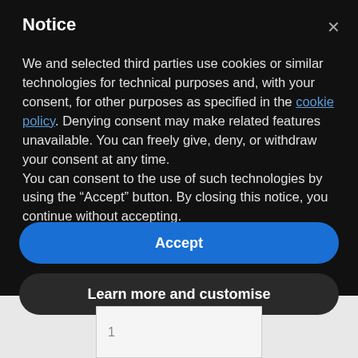Notice
We and selected third parties use cookies or similar technologies for technical purposes and, with your consent, for other purposes as specified in the cookie policy. Denying consent may make related features unavailable. You can freely give, deny, or withdraw your consent at any time.
You can consent to the use of such technologies by using the “Accept” button. By closing this notice, you continue without accepting.
Accept
Learn more and customise
1